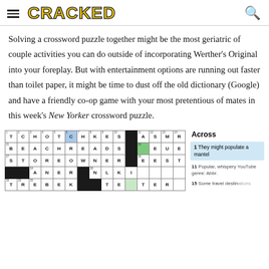CRACKED
Solving a crossword puzzle together might be the most geriatric of couple activities you can do outside of incorporating Werther's Original into your foreplay. But with entertainment options are running out faster than toilet paper, it might be time to dust off the old dictionary (Google) and have a friendly co-op game with your most pretentious of mates in this week's New Yorker crossword puzzle.
[Figure (other): Partial crossword puzzle grid showing rows with letters: T C H O T C H K E S [black] A S M R / B E A C H R E A D S [black] [green] E U E / S T O R E O W N E R [black] E E S T / [black] A N E R [black] N L K I / T R E B E K [black] T E [lightgreen] T E R]
Across
1 They might populate a mantel
11 Popular, whispery YouTube genre: Abbr.
15 Some travel destinations